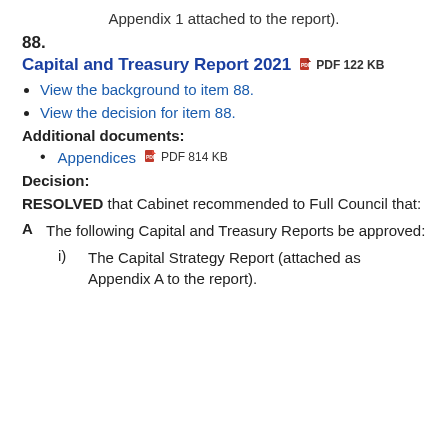Appendix 1 attached to the report).
88.
Capital and Treasury Report 2021  PDF 122 KB
View the background to item 88.
View the decision for item 88.
Additional documents:
Appendices  PDF 814 KB
Decision:
RESOLVED that Cabinet recommended to Full Council that:
A  The following Capital and Treasury Reports be approved:
i)  The Capital Strategy Report (attached as Appendix A to the report).